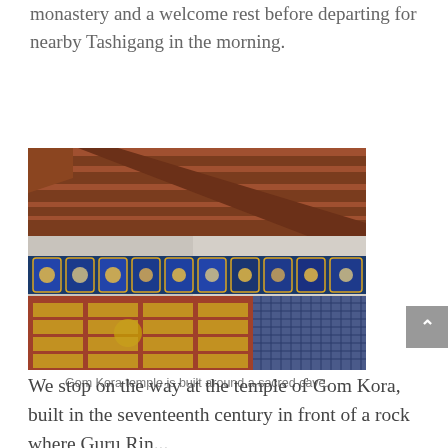monastery and a welcome rest before departing for nearby Tashigang in the morning.
[Figure (photo): Close-up photograph of Gom Kora temple showing traditional Bhutanese architecture with wooden beam roof, whitewashed stone walls, and a row of colorful painted Buddhist murals/panels along the top of a reddish-brown wall with scripture text blocks below.]
Gom Kora temple is built around a sacred cave.
We stop on the way at the temple of Gom Kora, built in the seventeenth century in front of a rock where Guru Rinpoche is said to have meditated...